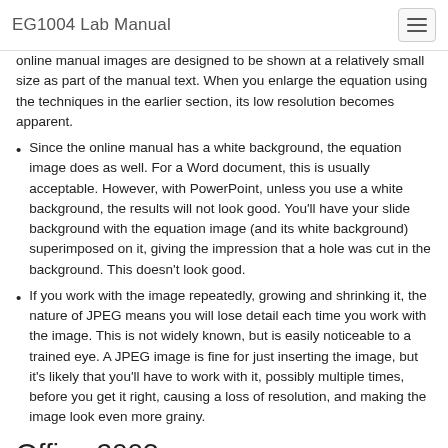EG1004 Lab Manual
online manual images are designed to be shown at a relatively small size as part of the manual text. When you enlarge the equation using the techniques in the earlier section, its low resolution becomes apparent.
Since the online manual has a white background, the equation image does as well. For a Word document, this is usually acceptable. However, with PowerPoint, unless you use a white background, the results will not look good. You’ll have your slide background with the equation image (and its white background) superimposed on it, giving the impression that a hole was cut in the background. This doesn’t look good.
If you work with the image repeatedly, growing and shrinking it, the nature of JPEG means you will lose detail each time you work with the image. This is not widely known, but is easily noticeable to a trained eye. A JPEG image is fine for just inserting the image, but it’s likely that you’ll have to work with it, possibly multiple times, before you get it right, causing a loss of resolution, and making the image look even more grainy.
Office 2003